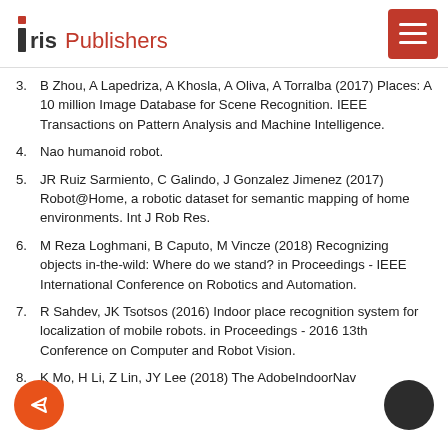Iris Publishers
3. B Zhou, A Lapedriza, A Khosla, A Oliva, A Torralba (2017) Places: A 10 million Image Database for Scene Recognition. IEEE Transactions on Pattern Analysis and Machine Intelligence.
4. Nao humanoid robot.
5. JR Ruiz Sarmiento, C Galindo, J Gonzalez Jimenez (2017) Robot@Home, a robotic dataset for semantic mapping of home environments. Int J Rob Res.
6. M Reza Loghmani, B Caputo, M Vincze (2018) Recognizing objects in-the-wild: Where do we stand? in Proceedings - IEEE International Conference on Robotics and Automation.
7. R Sahdev, JK Tsotsos (2016) Indoor place recognition system for localization of mobile robots. in Proceedings - 2016 13th Conference on Computer and Robot Vision.
8. K Mo, H Li, Z Lin, JY Lee (2018) The AdobeIndoorNav...